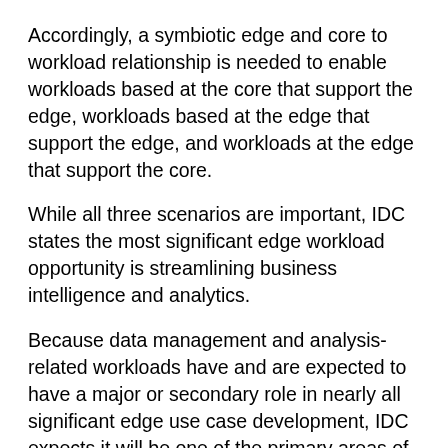Accordingly, a symbiotic edge and core to workload relationship is needed to enable workloads based at the core that support the edge, workloads based at the edge that support the edge, and workloads at the edge that support the core.
While all three scenarios are important, IDC states the most significant edge workload opportunity is streamlining business intelligence and analytics.
Because data management and analysis-related workloads have and are expected to have a major or secondary role in nearly all significant edge use case development, IDC expects it will be one of the primary areas of investment at the edge.
Similarly, development tools and applications workloads will see growing investment because of their influence on more forward edge use cases, especially in systems related to advanced AI and